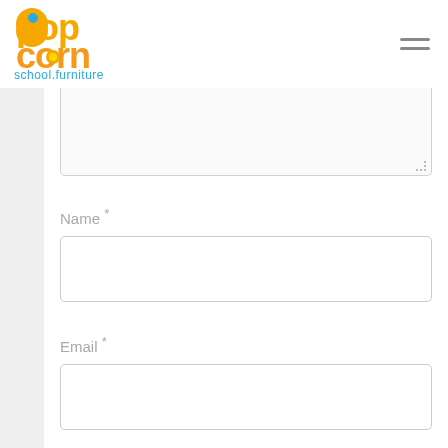[Figure (logo): Popcorn school.furniture logo with colorful bubbly lettering in orange and yellow, with 'school.furniture' in teal below]
[Figure (other): Hamburger menu icon (three horizontal lines)]
[Figure (screenshot): Partially visible textarea form field at top of gray content area]
Name *
[Figure (other): Name input field (empty text input box)]
Email *
[Figure (other): Email input field (empty text input box)]
Website